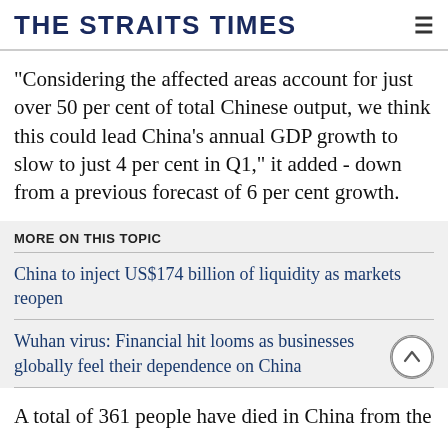THE STRAITS TIMES
"Considering the affected areas account for just over 50 per cent of total Chinese output, we think this could lead China's annual GDP growth to slow to just 4 per cent in Q1," it added - down from a previous forecast of 6 per cent growth.
MORE ON THIS TOPIC
China to inject US$174 billion of liquidity as markets reopen
Wuhan virus: Financial hit looms as businesses globally feel their dependence on China
A total of 361 people have died in China from the